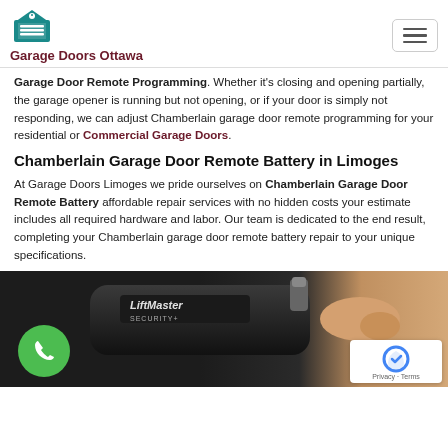Garage Doors Ottawa
Garage Door Remote Programming. Whether it's closing and opening partially, the garage opener is running but not opening, or if your door is simply not responding, we can adjust Chamberlain garage door remote programming for your residential or Commercial Garage Doors.
Chamberlain Garage Door Remote Battery in Limoges
At Garage Doors Limoges we pride ourselves on Chamberlain Garage Door Remote Battery affordable repair services with no hidden costs your estimate includes all required hardware and labor. Our team is dedicated to the end result, completing your Chamberlain garage door remote battery repair to your unique specifications.
[Figure (photo): A hand holding a black LiftMaster Security+ garage door remote. A green phone icon bubble is visible on the left. A reCAPTCHA badge appears in the bottom right corner.]